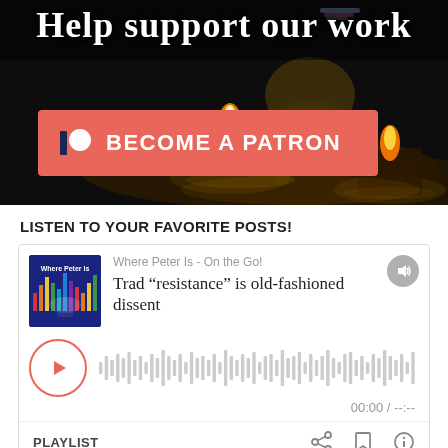[Figure (photo): Dark background with candle flames, 'Help support our work' text overlay and a salmon/coral 'BECOME A PATRON' button with Patreon-style icon]
LISTEN TO YOUR FAVORITE POSTS!
[Figure (screenshot): Audio player card for 'Where Peter Is - On the Go!' podcast, episode: Trad “resistance” is old-fashioned dissent. Shows podcast artwork, play button, waveform, time 00:00 / --:--, and PLAYLIST footer with share/bookmark/info icons.]